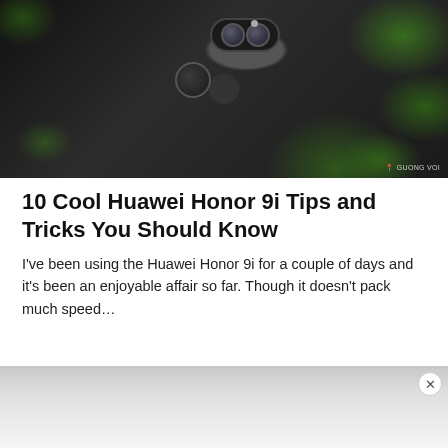[Figure (photo): Back of a Huawei Honor 9i smartphone showing dual camera module and fingerprint sensor, placed among green leaves]
10 Cool Huawei Honor 9i Tips and Tricks You Should Know
I've been using the Huawei Honor 9i for a couple of days and it's been an enjoyable affair so far. Though it doesn't pack much speed…
[Figure (photo): Advertisement banner image with gray stone/concrete texture background and close button]